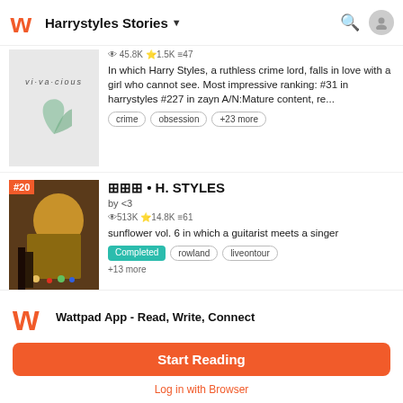Harrystyles Stories
45.8K ★1.5K 47
In which Harry Styles, a ruthless crime lord, falls in love with a girl who cannot see. Most impressive ranking: #31 in harrystyles #227 in zayn A/N:Mature content, re...
crime   obsession   +23 more
🔳🔳🔳 • H. STYLES
by <3
513K ★14.8K 61
sunflower vol. 6 in which a guitarist meets a singer
Completed   rowland   liveontour
+13 more
Wattpad App - Read, Write, Connect
Start Reading
Log in with Browser